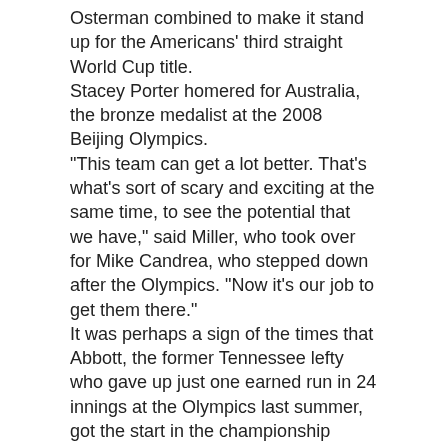Osterman combined to make it stand up for the Americans' third straight World Cup title.
Stacey Porter homered for Australia, the bronze medalist at the 2008 Beijing Olympics.
"This team can get a lot better. That's what's sort of scary and exciting at the same time, to see the potential that we have," said Miller, who took over for Mike Candrea, who stepped down after the Olympics. "Now it's our job to get them there."
It was perhaps a sign of the times that Abbott, the former Tennessee lefty who gave up just one earned run in 24 innings at the Olympics last summer, got the start in the championship game instead of Osterman or fellow veteran Jennie Finch.
Finch had thrown five scoreless innings against Australia the day before and Osterman, who no-hit the Aussies in Beijing, last pitched on Saturday night against Japan.
But this is a new American team, after seven players who'd played in at least two Olympics retired.
So far, the youngsters are 20-0 with titles at the Canada Cup and the World Cup.
It took some help from the few remaining veterans to get past